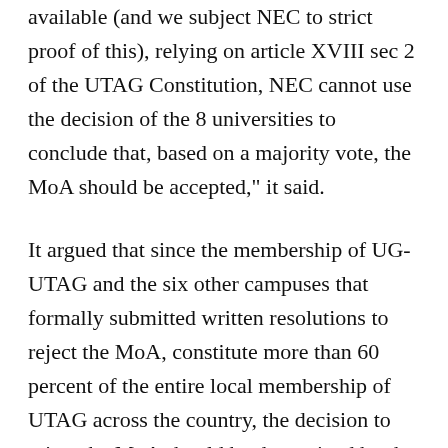available (and we subject NEC to strict proof of this), relying on article XVIII sec 2 of the UTAG Constitution, NEC cannot use the decision of the 8 universities to conclude that, based on a majority vote, the MoA should be accepted," it said.
It argued that since the membership of UG-UTAG and the six other campuses that formally submitted written resolutions to reject the MoA, constitute more than 60 percent of the entire local membership of UTAG across the country, the decision to reject the MoA should be determined by the number of individual members as defined by the UTAG Constitution, but not by the number of branch members.
Source: Citinewsroom.com